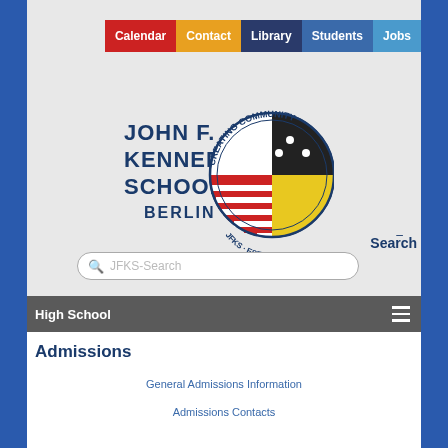[Figure (screenshot): Navigation bar with colored menu items: Calendar (red), Contact (orange/yellow), Library (dark navy), Students (blue), Jobs (light blue)]
[Figure (logo): John F. Kennedy School Berlin logo with globe showing American and German flag colors, text 'CREATING COMMUNITY' around circle, 'JFKS · EST. 1960 ·' below, school name in navy blue]
–
Search
JFKS-Search
High School
Admissions
General Admissions Information
Admissions Contacts